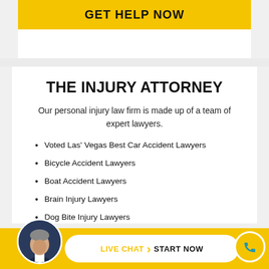GET HELP NOW
THE INJURY ATTORNEY
Our personal injury law firm is made up of a team of expert lawyers.
Voted Las' Vegas Best Car Accident Lawyers
Bicycle Accident Lawyers
Boat Accident Lawyers
Brain Injury Lawyers
Dog Bite Injury Lawyers
LIVE CHAT START NOW